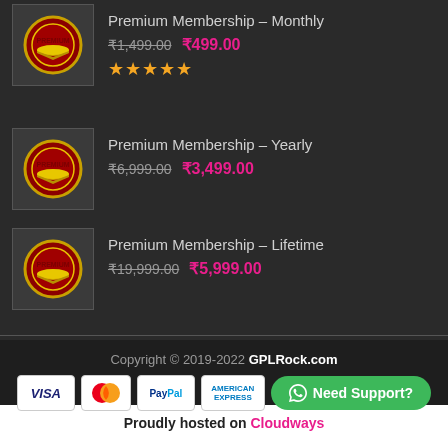Premium Membership – Monthly, ₹1,499.00 ₹499.00, 5 stars
Premium Membership – Yearly, ₹6,999.00 ₹3,499.00
Premium Membership – Lifetime, ₹19,999.00 ₹5,999.00
Copyright © 2019-2022 GPLRock.com
Proudly hosted on Cloudways